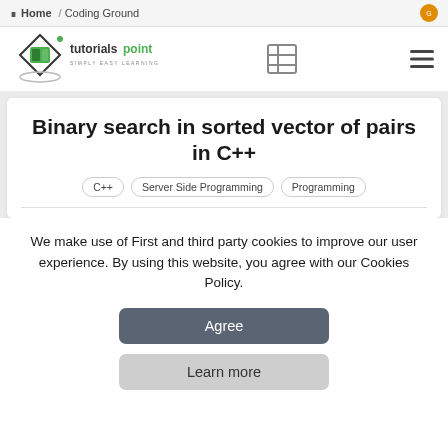Home / Coding Ground
[Figure (logo): Tutorialspoint logo with diamond shape and book icon, text 'tutorialspoint SIMPLY EASY LEARNING']
Binary search in sorted vector of pairs in C++
C++ | Server Side Programming | Programming
We make use of First and third party cookies to improve our user experience. By using this website, you agree with our Cookies Policy.
Agree
Learn more